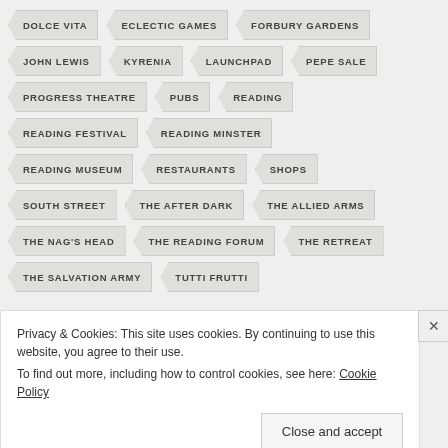DOLCE VITA
ECLECTIC GAMES
FORBURY GARDENS
JOHN LEWIS
KYRENIA
LAUNCHPAD
PEPE SALE
PROGRESS THEATRE
PUBS
READING
READING FESTIVAL
READING MINSTER
READING MUSEUM
RESTAURANTS
SHOPS
SOUTH STREET
THE AFTER DARK
THE ALLIED ARMS
THE NAG'S HEAD
THE READING FORUM
THE RETREAT
THE SALVATION ARMY
TUTTI FRUTTI
Privacy & Cookies: This site uses cookies. By continuing to use this website, you agree to their use.
To find out more, including how to control cookies, see here: Cookie Policy
Close and accept